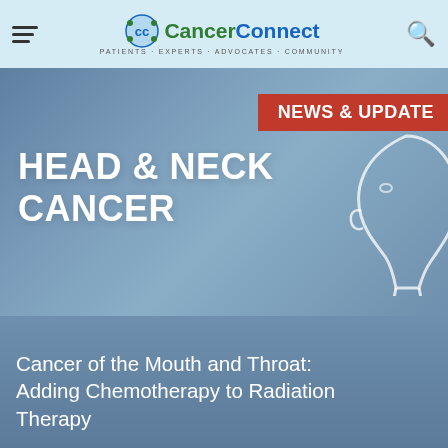CancerConnect — Patients · Experts · Advocates · Community
[Figure (illustration): Hero banner with blue-grey gradient background showing 'NEWS & UPDATES' red badge and 'HEAD & NECK CANCER' in large white bold text, with a white outline silhouette of a human head and neck on the right side.]
Cancer of the Mouth and Throat: Adding Chemotherapy to Radiation Therapy